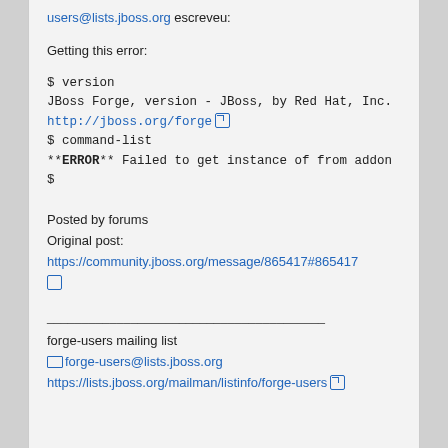users@lists.jboss.org escreveu:
Getting this error:
$ version
JBoss Forge, version - JBoss, by Red Hat, Inc.
http://jboss.org/forge
$ command-list
**ERROR** Failed to get instance of from addon
$
Posted by forums
Original post:
https://community.jboss.org/message/865417#865417
________________________________________
forge-users mailing list
forge-users@lists.jboss.org
https://lists.jboss.org/mailman/listinfo/forge-users